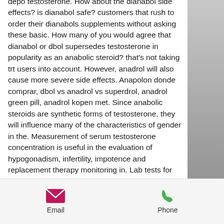depo testosterone. How about the dianabol side effects? is dianabol safe? customers that rush to order their dianabols supplements without asking these basic. How many of you would agree that dianabol or dbol supersedes testosterone in popularity as an anabolic steroid? that's not taking trt users into account. However, anadrol will also cause more severe side effects. Anapolon donde comprar, dbol vs anadrol vs superdrol, anadrol green pill, anadrol kopen met. Since anabolic steroids are synthetic forms of testosterone, they will influence many of the characteristics of gender in the. Measurement of serum testosterone concentration is useful in the evaluation of hypogonadism, infertility, impotence and replacement therapy monitoring in. Lab tests for the amount of testosterone in your blood
[Figure (photo): Partial photo of a person in dark clothing against a gray background, visible on the right side of the page]
Email   Phone